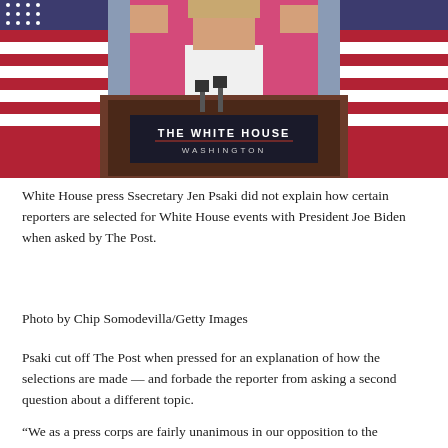[Figure (photo): White House press secretary Jen Psaki standing at The White House Washington podium in a pink blazer, with American flags in the background]
White House press Ssecretary Jen Psaki did not explain how certain reporters are selected for White House events with President Joe Biden when asked by The Post.
Photo by Chip Somodevilla/Getty Images
Psaki cut off The Post when pressed for an explanation of how the selections are made — and forbade the reporter from asking a second question about a different topic.
“We as a press corps are fairly unanimous in our opposition to the mysterious pre-screening process that's been going on for presidential events in the East Room,” The Post told